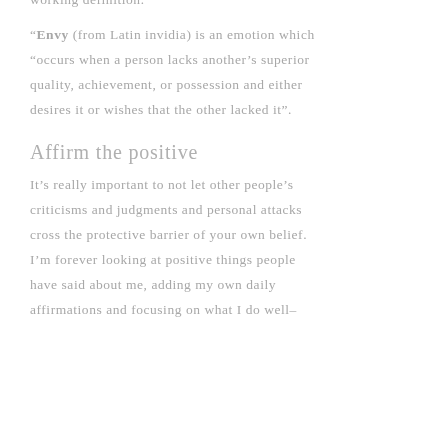working definition:
“Envy (from Latin invidia) is an emotion which “occurs when a person lacks another’s superior quality, achievement, or possession and either desires it or wishes that the other lacked it”.
Affirm the positive
It’s really important to not let other people’s criticisms and judgments and personal attacks cross the protective barrier of your own belief. I’m forever looking at positive things people have said about me, adding my own daily affirmations and focusing on what I do well–